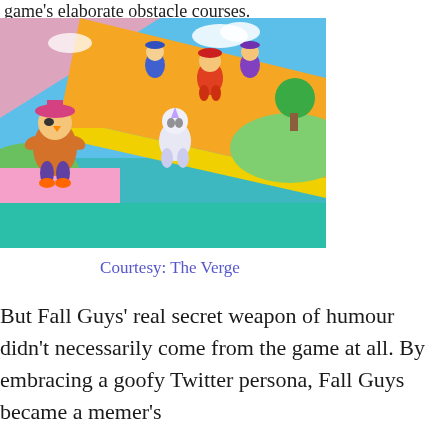game's elaborate obstacle courses.
[Figure (photo): Screenshot from Fall Guys game showing colorful cartoon characters running along bright yellow and orange obstacle course platforms against a blue sky background. A pirate-costumed character is prominent in the foreground.]
Courtesy: The Verge
But Fall Guys' real secret weapon of humour didn't necessarily come from the game at all. By embracing a goofy Twitter persona, Fall Guys became a memer's